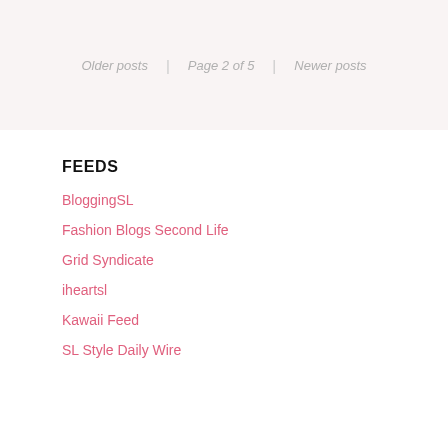Older posts | Page 2 of 5 | Newer posts
FEEDS
BloggingSL
Fashion Blogs Second Life
Grid Syndicate
iheartsl
Kawaii Feed
SL Style Daily Wire